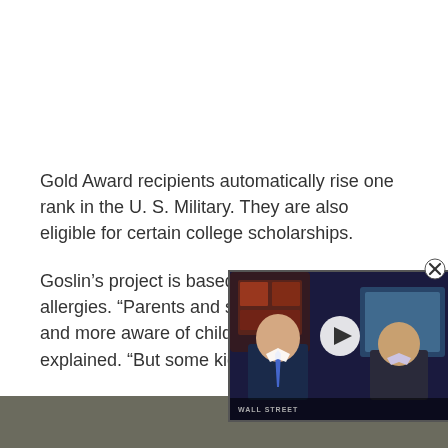Gold Award recipients automatically rise one rank in the U. S. Military. They are also eligible for certain college scholarships.
Goslin’s project is based on allergies. “Parents and schools need to be and more aware of childhood explained. “But some kids t
[Figure (screenshot): Video player overlay showing two men in a TV news broadcast (Wall Street Journal style), with a play button in the center and a close (X) button in the top right corner.]